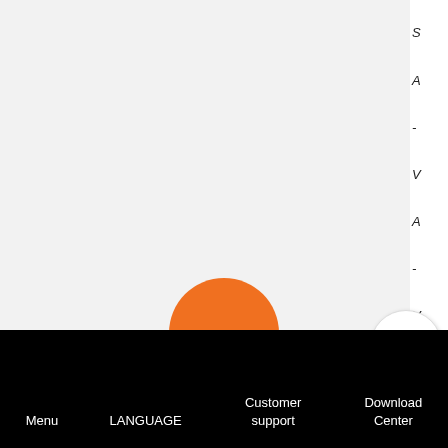[Figure (other): Large light grey rectangular area occupying the upper-left portion of the page, serving as a content/map display area]
S
A
-
V
A
-
V
TOP
[Figure (other): Orange circle (logo/home button) centered above the footer navigation bar]
Menu   LANGUAGE   Customer support   Download Center